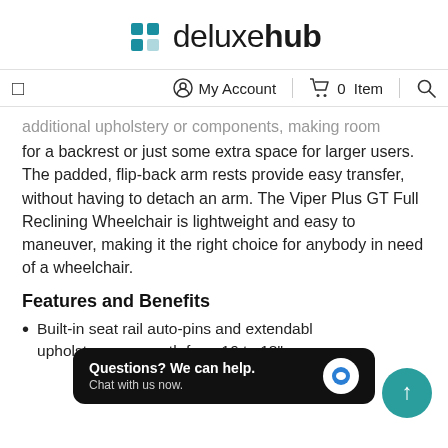[Figure (logo): deluxehub logo with teal square icon and wordmark]
My Account | 0 Item | Search
additional upholstery or components, making room for a backrest or just some extra space for larger users. The padded, flip-back arm rests provide easy transfer, without having to detach an arm. The Viper Plus GT Full Reclining Wheelchair is lightweight and easy to maneuver, making it the right choice for anybody in need of a wheelchair.
Features and Benefits
Built-in seat rail auto-pins and extendable upholstery depth from 16" to 18"